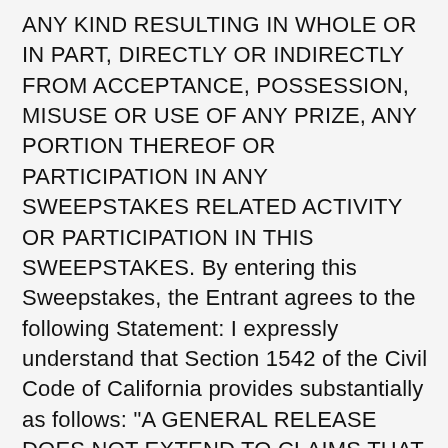ANY KIND RESULTING IN WHOLE OR IN PART, DIRECTLY OR INDIRECTLY FROM ACCEPTANCE, POSSESSION, MISUSE OR USE OF ANY PRIZE, ANY PORTION THEREOF OR PARTICIPATION IN ANY SWEEPSTAKES RELATED ACTIVITY OR PARTICIPATION IN THIS SWEEPSTAKES. By entering this Sweepstakes, the Entrant agrees to the following Statement: I expressly understand that Section 1542 of the Civil Code of California provides substantially as follows: "A GENERAL RELEASE DOES NOT EXTEND TO CLAIMS THAT THE CREDITOR OR RELEASING PARTY DOES NOT KNOW OR SUSPECT TO EXIST IN HIS OR HER